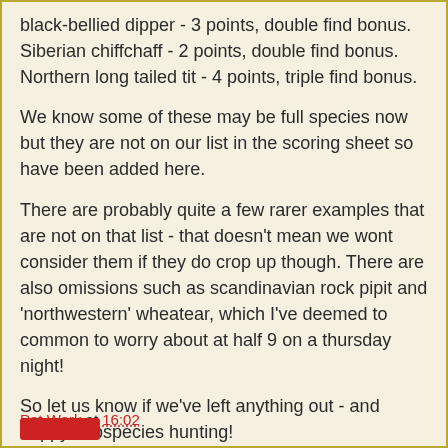black-bellied dipper - 3 points, double find bonus.
Siberian chiffchaff - 2 points, double find bonus.
Northern long tailed tit - 4 points, triple find bonus.
We know some of these may be full species now but they are not on our list in the scoring sheet so have been added here.
There are probably quite a few rarer examples that are not on that list - that doesn't mean we wont consider them if they do crop up though. There are also omissions such as scandinavian rock pipit and 'northwestern' wheatear, which I've deemed to common to worry about at half 9 on a thursday night!
So let us know if we've left anything out - and happy subspecies hunting!
Pat Work at 16:02